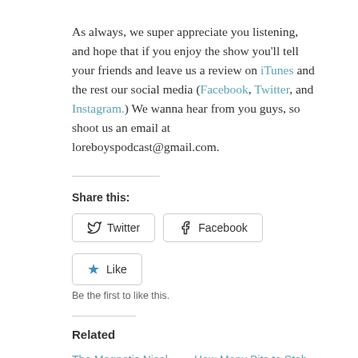As always, we super appreciate you listening, and hope that if you enjoy the show you'll tell your friends and leave us a review on iTunes and the rest our social media (Facebook, Twitter, and Instagram.) We wanna hear from you guys, so shoot us an email at loreboyspodcast@gmail.com.
Share this:
Twitter | Facebook
Like
Be the first to like this.
Related
The Magnetic Nicol Bolas
May 2, 2018
In "Lore Boys Podcast"
How Many Bits to Stab Your Sister? (Magic: The Gathering – Josko part 2)